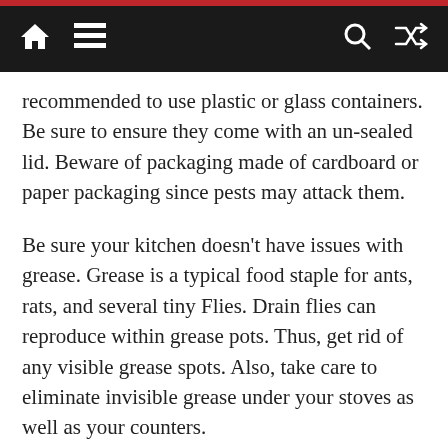[navigation bar with home, menu, search, and shuffle icons]
recommended to use plastic or glass containers. Be sure to ensure they come with an un-sealed lid. Beware of packaging made of cardboard or paper packaging since pests may attack them.
Be sure your kitchen doesn’t have issues with grease. Grease is a typical food staple for ants, rats, and several tiny Flies. Drain flies can reproduce within grease pots. Thus, get rid of any visible grease spots. Also, take care to eliminate invisible grease under your stoves as well as your counters.
It is not advisable to use pesticides in the event of wind humid or hot outside or when it’s